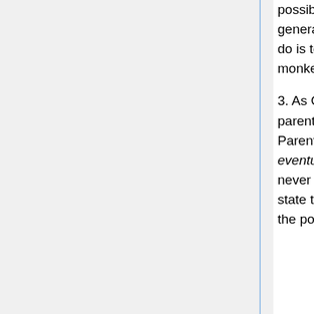possibly attempt to evolve any further on our own). Things do not generally improve over time; God gave us perfection, and all we can ever do is to work towards redeeming ourselves for the original sin of the monkey curiosity that destroyed Eden.
3. As God's children, we are never allowed to grow up. In real life, parents teach their children to become adults (and potential parents). Parents explain things; sometimes children don't understand yet, but eventually they will, so the parents keep trying. God, on the other hand, never answers any questions clearly or unambiguously; many religions state that God is no longer available for comment, while others allow for the possibility of direct communication through prayer – but in